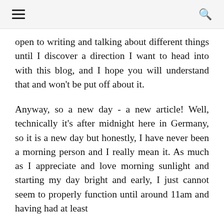☰  🔍
open to writing and talking about different things until I discover a direction I want to head into with this blog, and I hope you will understand that and won't be put off about it.
Anyway, so a new day - a new article! Well, technically it's after midnight here in Germany, so it is a new day but honestly, I have never been a morning person and I really mean it. As much as I appreciate and love morning sunlight and starting my day bright and early, I just cannot seem to properly function until around 11am and having had at least